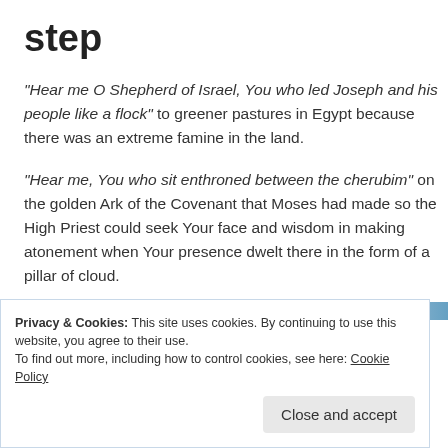step
“Hear me O Shepherd of Israel, You who led Joseph and his people like a flock” to greener pastures in Egypt because there was an extreme famine in the land.
“Hear me, You who sit enthroned between the cherubim” on the golden Ark of the Covenant that Moses had made so the High Priest could seek Your face and wisdom in making atonement when Your presence dwelt there in the form of a pillar of cloud.
Privacy & Cookies: This site uses cookies. By continuing to use this website, you agree to their use. To find out more, including how to control cookies, see here: Cookie Policy